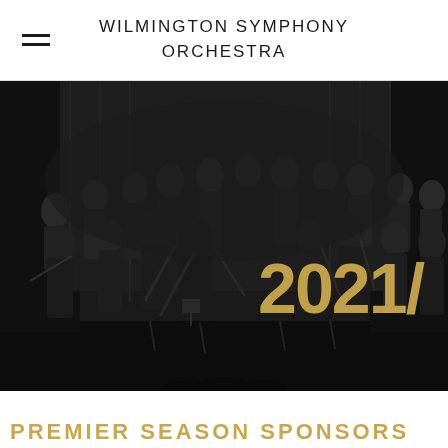WILMINGTON SYMPHONY ORCHESTRA
[Figure (photo): Black and white photograph of the Wilmington Symphony Orchestra musicians on stage holding their instruments, with a large gold '2021/' text overlay on the right side of the image.]
PREMIER SEASON SPONSORS